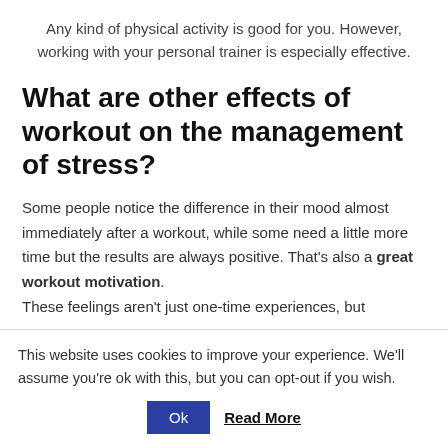Any kind of physical activity is good for you. However, working with your personal trainer is especially effective.
What are other effects of workout on the management of stress?
Some people notice the difference in their mood almost immediately after a workout, while some need a little more time but the results are always positive. That's also a great workout motivation.
These feelings aren't just one-time experiences, but
This website uses cookies to improve your experience. We'll assume you're ok with this, but you can opt-out if you wish.
Ok  Read More